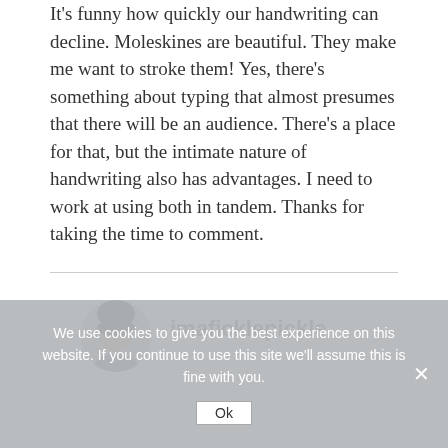It's funny how quickly our handwriting can decline. Moleskines are beautiful. They make me want to stroke them! Yes, there's something about typing that almost presumes that there will be an audience. There's a place for that, but the intimate nature of handwriting also has advantages. I need to work at using both in tandem. Thanks for taking the time to comment.
[Figure (photo): Circular avatar photo of a person wearing glasses with dark hair]
imaficklepickle
We use cookies to give you the best experience on this website. If you continue to use this site we'll assume this is fine with you.
Ok